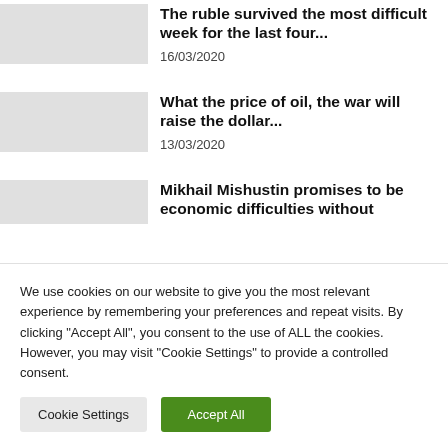The ruble survived the most difficult week for the last four...
16/03/2020
What the price of oil, the war will raise the dollar...
13/03/2020
Mikhail Mishustin promises to be economic difficulties without
We use cookies on our website to give you the most relevant experience by remembering your preferences and repeat visits. By clicking "Accept All", you consent to the use of ALL the cookies. However, you may visit "Cookie Settings" to provide a controlled consent.
Cookie Settings
Accept All